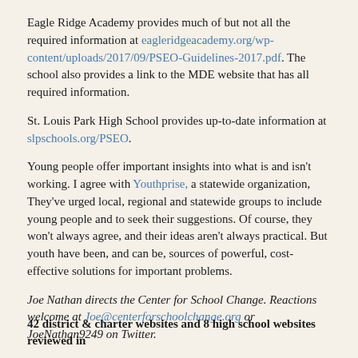Eagle Ridge Academy provides much of but not all the required information at eagleridgeacademy.org/wp-content/uploads/2017/09/PSEO-Guidelines-2017.pdf. The school also provides a link to the MDE website that has all required information.
St. Louis Park High School provides up-to-date information at slpschools.org/PSEO.
Young people offer important insights into what is and isn't working. I agree with Youthprise, a statewide organization, They've urged local, regional and statewide groups to include young people and to seek their suggestions. Of course, they won't always agree, and their ideas aren't always practical. But youth have been, and can be, sources of powerful, cost-effective solutions for important problems.
Joe Nathan directs the Center for School Change. Reactions welcome at Joe@centerforschoolchange.org or JoeNathan9249 on Twitter.
Review of 50 PSEO Websites carried out last week of January, 2021 by CSC
42 district & charter websites and 8 high school websites reviewed in